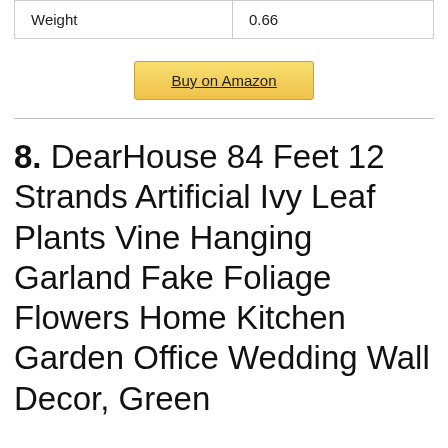| Weight | 0.66 |
Buy on Amazon
8. DearHouse 84 Feet 12 Strands Artificial Ivy Leaf Plants Vine Hanging Garland Fake Foliage Flowers Home Kitchen Garden Office Wedding Wall Decor, Green